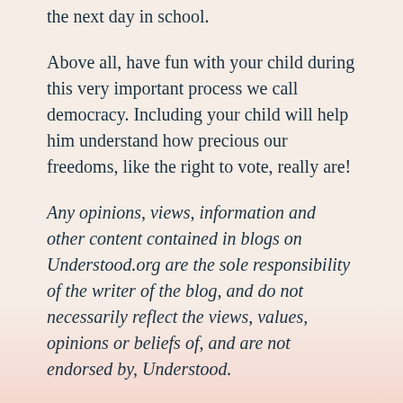the next day in school.
Above all, have fun with your child during this very important process we call democracy. Including your child will help him understand how precious our freedoms, like the right to vote, really are!
Any opinions, views, information and other content contained in blogs on Understood.org are the sole responsibility of the writer of the blog, and do not necessarily reflect the views, values, opinions or beliefs of, and are not endorsed by, Understood.